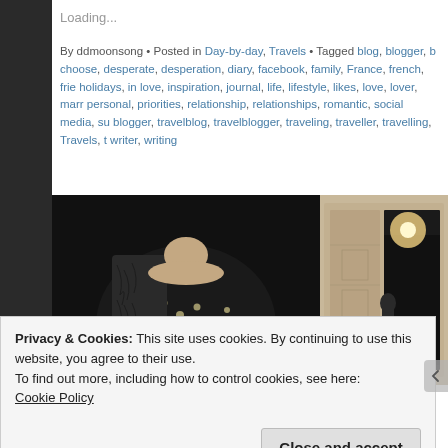Loading...
By ddmoonsong • Posted in Day-by-day, Travels • Tagged blog, blogger, b choose, desperate, desperation, diary, facebook, family, France, french, frie holidays, in love, inspiration, journal, life, lifestyle, likes, love, lover, marr personal, priorities, relationship, relationships, romantic, social media, su blogger, travelblog, travelblogger, traveling, traveller, travelling, Travels, t writer, writing
[Figure (photo): Two-panel photo: left panel shows a woman in a dark patterned dress with a pearl necklace, right panel shows an ornate interior hall with a statue silhouette and chandelier light.]
Privacy & Cookies: This site uses cookies. By continuing to use this website, you agree to their use.
To find out more, including how to control cookies, see here:
Cookie Policy
Close and accept